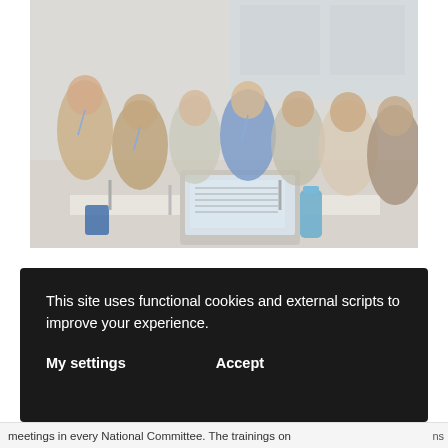[Figure (photo): Group of young people sitting in a circle in a classroom setting, wearing lanyards, with a laptop and water bottle on the table in the foreground.]
This site uses functional cookies and external scripts to improve your experience.
My settings    Accept
meetings in every National Committee. The trainings on